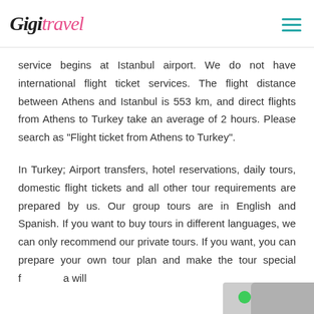Gigi Travel
service begins at Istanbul airport. We do not have international flight ticket services. The flight distance between Athens and Istanbul is 553 km, and direct flights from Athens to Turkey take an average of 2 hours. Please search as "Flight ticket from Athens to Turkey".
In Turkey; Airport transfers, hotel reservations, daily tours, domestic flight tickets and all other tour requirements are prepared by us. Our group tours are in English and Spanish. If you want to buy tours in different languages, we can only recommend our private tours. If you want, you can prepare your own tour plan and make the tour special f[...]a will